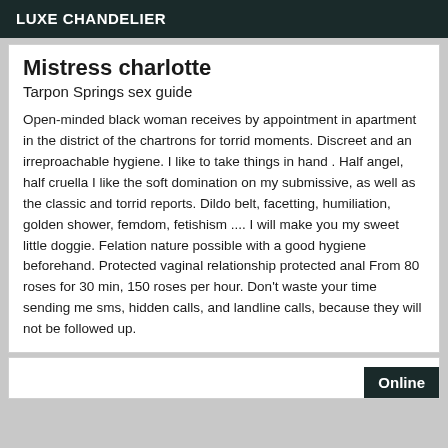LUXE CHANDELIER
Mistress charlotte
Tarpon Springs sex guide
Open-minded black woman receives by appointment in apartment in the district of the chartrons for torrid moments. Discreet and an irreproachable hygiene. I like to take things in hand . Half angel, half cruella I like the soft domination on my submissive, as well as the classic and torrid reports. Dildo belt, facetting, humiliation, golden shower, femdom, fetishism .... I will make you my sweet little doggie. Felation nature possible with a good hygiene beforehand. Protected vaginal relationship protected anal From 80 roses for 30 min, 150 roses per hour. Don't waste your time sending me sms, hidden calls, and landline calls, because they will not be followed up.
Online